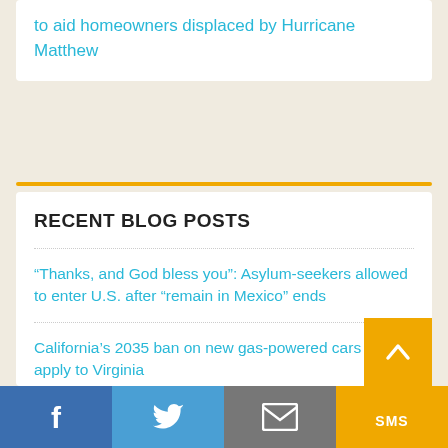to aid homeowners displaced by Hurricane Matthew
RECENT BLOG POSTS
“Thanks, and God bless you”: Asylum-seekers allowed to enter U.S. after “remain in Mexico” ends
California’s 2035 ban on new gas-powered cars set to apply to Virginia
As kids head back to class, NC lawmakers told to ‘cut the check’ and fully fund public schools (with photo gallery)